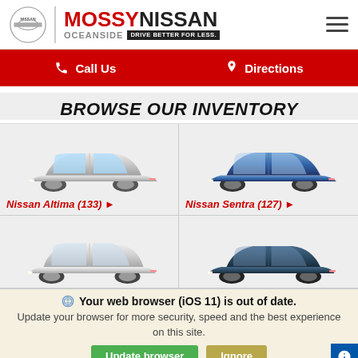[Figure (logo): Mossy Nissan Oceanside logo with Nissan circular emblem and tagline Drive Better For Less]
[Figure (other): Red navigation bar with Call Us and Directions links]
BROWSE OUR INVENTORY
[Figure (photo): Silver Nissan Altima side profile]
[Figure (photo): Blue Nissan Sentra side profile]
Nissan Altima (133) ▶
Nissan Sentra (127) ▶
[Figure (photo): White/silver Nissan Maxima side profile]
[Figure (photo): Dark blue Nissan Versa side profile]
Your web browser (iOS 11) is out of date. Update your browser for more security, speed and the best experience on this site.